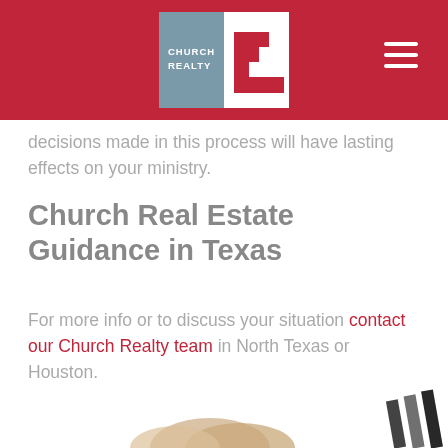[Figure (logo): Church Realty logo: blue/grey square with white text 'CHURCH REALTY' on left, white square with red staircase/building shape on right, set within crimson red header bar with hamburger menu icon in top right]
decisions made in this process will have lasting effects on your ministry.
Church Real Estate Guidance in Texas
For more info or to discuss your situation contact our Church Realty team in North Texas or Houston.
[Figure (photo): Partial image of hands at bottom of page, partially cropped]